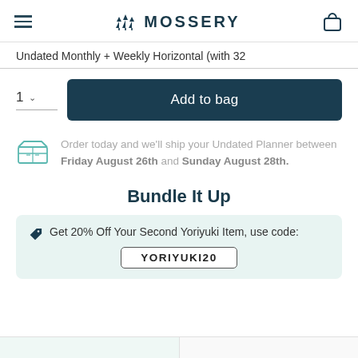MOSSERY
Undated Monthly + Weekly Horizontal (with 32
Add to bag
Order today and we'll ship your Undated Planner between Friday August 26th and Sunday August 28th.
Bundle It Up
Get 20% Off Your Second Yoriyuki Item, use code: YORIYUKI20